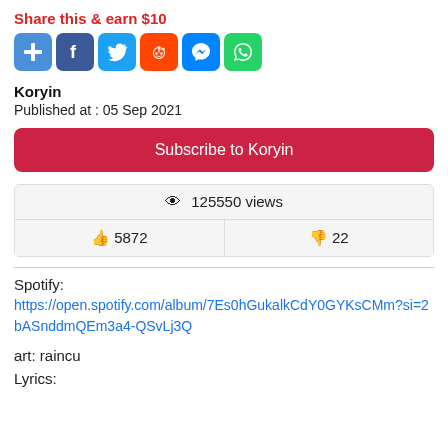Share this & earn $10
[Figure (infographic): Social sharing icons: plus/add, Facebook, Twitter, Reddit, Messenger, WhatsApp]
Koryin
Published at : 05 Sep 2021
Subscribe to Koryin
125550 views
5872
22
Spotify:
https://open.spotify.com/album/7Es0hGukalkCdY0GYKsCMm?si=2bASnddmQEm3a4-QSvLj3Q
art: raincu
Lyrics: